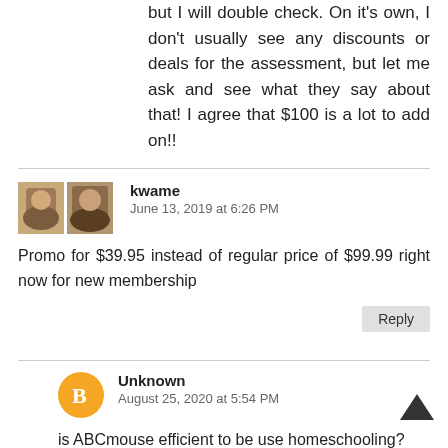but I will double check. On it's own, I don't usually see any discounts or deals for the assessment, but let me ask and see what they say about that! I agree that $100 is a lot to add on!!
kwame
June 13, 2019 at 6:26 PM
Promo for $39.95 instead of regular price of $99.99 right now for new membership
Unknown
August 25, 2020 at 5:54 PM
is ABCmouse efficient to be use homeschooling?